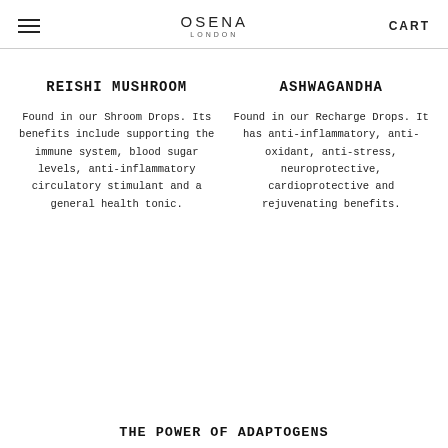OSENA LONDON | CART
REISHI MUSHROOM
Found in our Shroom Drops. Its benefits include supporting the immune system, blood sugar levels, anti-inflammatory circulatory stimulant and a general health tonic.
ASHWAGANDHA
Found in our Recharge Drops. It has anti-inflammatory, anti-oxidant, anti-stress, neuroprotective, cardioprotective and rejuvenating benefits.
THE POWER OF ADAPTOGENS